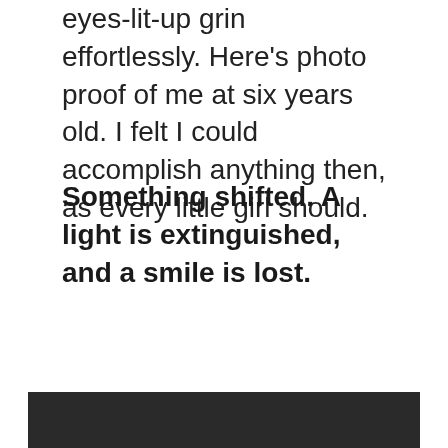eyes-lit-up grin effortlessly. Here's photo proof of me at six years old. I felt I could accomplish anything then, as every little girl should.
Something shifted. A light is extinguished, and a smile is lost.
[Figure (photo): Bottom portion of a dark/black photograph, partially visible at the bottom of the page.]